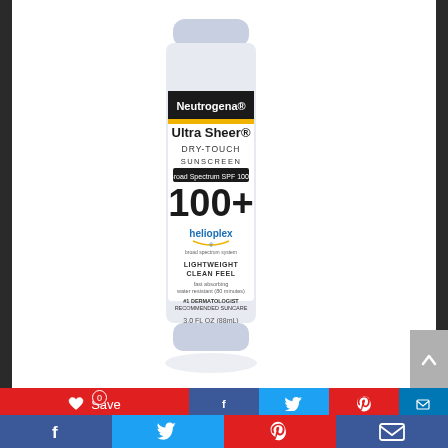[Figure (photo): Neutrogena Ultra Sheer Dry-Touch Sunscreen tube, Broad Spectrum SPF 100+, 3.0 FL OZ (88mL), with helioplex logo, lightweight clean feel, fast absorbing, water resistant (80 minutes), #1 dermatologist recommended suncare]
[Figure (infographic): Social sharing bar with Save (heart icon, 0 count), Facebook share, Twitter share, Pinterest share, LinkedIn share buttons in red, blue, light blue, red, and dark blue colors]
[Figure (infographic): Bottom social media bar with Facebook (blue), Twitter (light blue), Pinterest (red), and email/envelope (dark blue) icons]